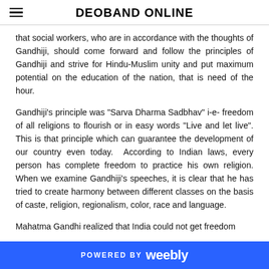DEOBAND ONLINE
that social workers, who are in accordance with the thoughts of Gandhiji, should come forward and follow the principles of Gandhiji and strive for Hindu-Muslim unity and put maximum potential on the education of the nation, that is need of the hour.
Gandhiji's principle was "Sarva Dharma Sadbhav" i-e- freedom of all religions to flourish or in easy words "Live and let live". This is that principle which can guarantee the development of our country even today.  According to Indian laws, every person has complete freedom to practice his own religion. When we examine Gandhiji's speeches, it is clear that he has tried to create harmony between different classes on the basis of caste, religion, regionalism, color, race and language.
Mahatma Gandhi realized that India could not get freedom
POWERED BY weebly